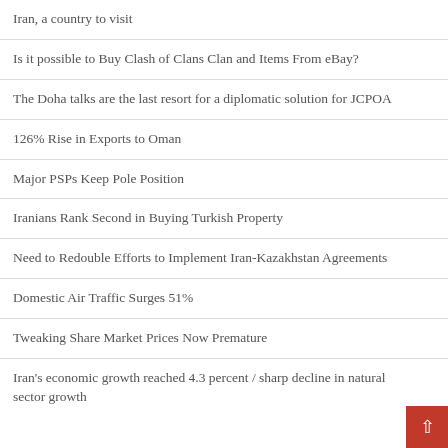Iran, a country to visit
Is it possible to Buy Clash of Clans Clan and Items From eBay?
The Doha talks are the last resort for a diplomatic solution for JCPOA
126% Rise in Exports to Oman
Major PSPs Keep Pole Position
Iranians Rank Second in Buying Turkish Property
Need to Redouble Efforts to Implement Iran-Kazakhstan Agreements
Domestic Air Traffic Surges 51%
Tweaking Share Market Prices Now Premature
Iran's economic growth reached 4.3 percent / sharp decline in natural sector growth